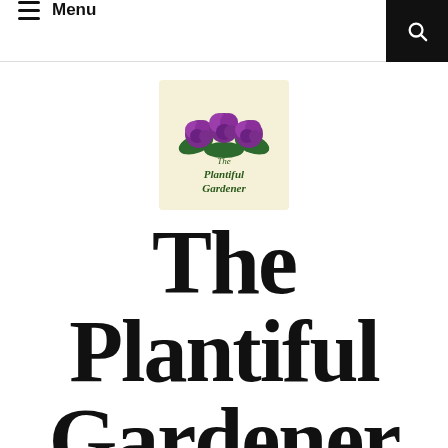Menu
[Figure (logo): The Plantiful Gardener logo: purple roses on a cream/yellow background with cursive text reading 'The Plantiful Gardener']
The Plantiful Gardener